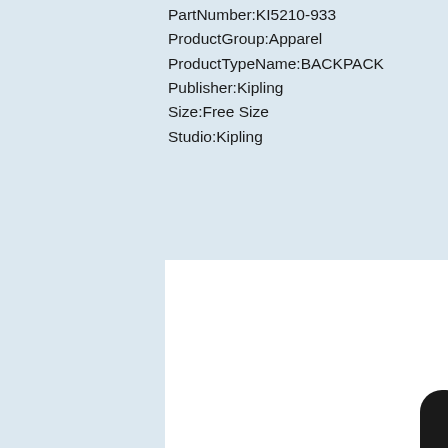PartNumber:KI5210-933
ProductGroup:Apparel
ProductTypeName:BACKPACK
Publisher:Kipling
Size:Free Size
Studio:Kipling
[Figure (photo): Black Kipling backpack with two shoulder straps, front zip pocket, and a small monkey keychain charm, photographed against a white background.]